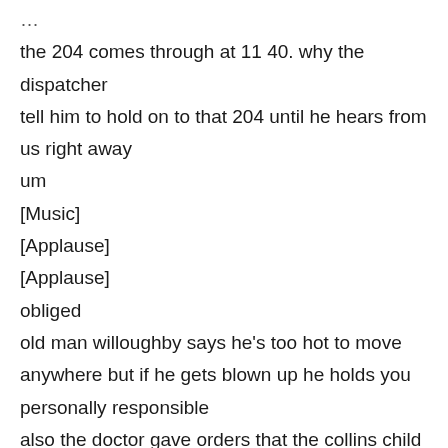the 204 comes through at 11 40. why the dispatcher
tell him to hold on to that 204 until he hears from us right away
um
[Music]
[Applause]
[Applause]
obliged
old man willoughby says he's too hot to move anywhere but if he gets blown up he holds you personally responsible
also the doctor gave orders that the collins child stay in bed
or she might not make it through the day
all right